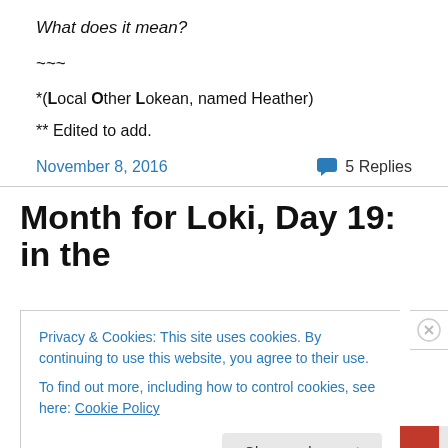What does it mean?
~~~
*(Local Other Lokean, named Heather)
** Edited to add.
November 8, 2016    💬 5 Replies
Month for Loki, Day 19: in the
Privacy & Cookies: This site uses cookies. By continuing to use this website, you agree to their use.
To find out more, including how to control cookies, see here: Cookie Policy